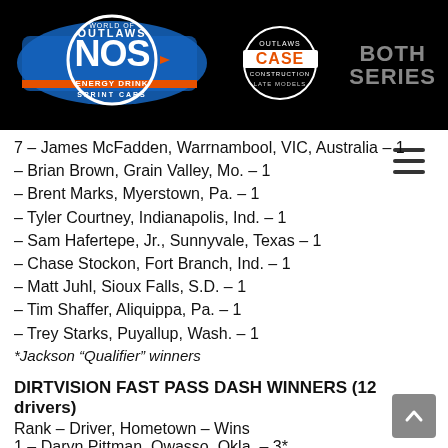[Figure (logo): World of Outlaws NOS Energy Drink Sprint Cars logo]
[Figure (logo): Outlaws CASE Construction Late Models logo]
BOTH SERIES
7 – James McFadden, Warrnambool, VIC, Australia – 1
– Brian Brown, Grain Valley, Mo. – 1
– Brent Marks, Myerstown, Pa. – 1
– Tyler Courtney, Indianapolis, Ind. – 1
– Sam Hafertepe, Jr., Sunnyvale, Texas – 1
– Chase Stockon, Fort Branch, Ind. – 1
– Matt Juhl, Sioux Falls, S.D. – 1
– Tim Shaffer, Aliquippa, Pa. – 1
– Trey Starks, Puyallup, Wash. – 1
*Jackson “Qualifier” winners
DIRTVISION FAST PASS DASH WINNERS (12 drivers)
Rank – Driver, Hometown – Wins
1 – Daryn Pittman, Owasso, Okla. – 3*